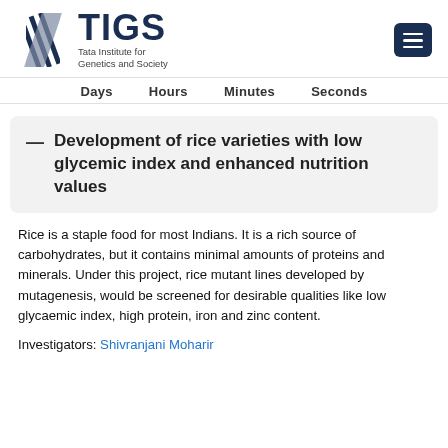[Figure (logo): TIGS logo with diagonal stripe graphic and text 'Tata Institute for Genetics and Society']
Days   Hours   Minutes   Seconds
Development of rice varieties with low glycemic index and enhanced nutrition values
Rice is a staple food for most Indians. It is a rich source of carbohydrates, but it contains minimal amounts of proteins and minerals. Under this project, rice mutant lines developed by mutagenesis, would be screened for desirable qualities like low glycaemic index, high protein, iron and zinc content.
Investigators: Shivranjani Moharir